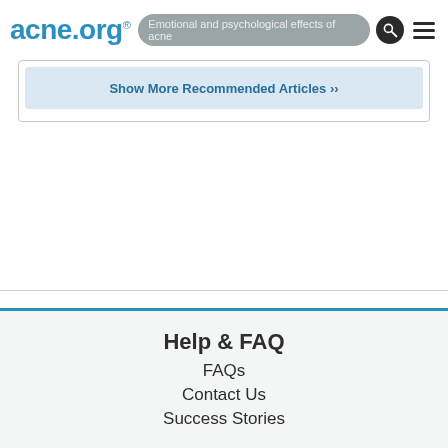acne.org® — Emotional and psychological effects of acne
Show More Recommended Articles
Help & FAQ
FAQs
Contact Us
Success Stories
About Acne.org
About us